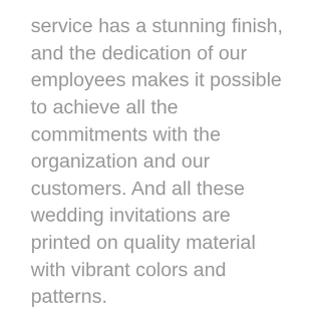service has a stunning finish, and the dedication of our employees makes it possible to achieve all the commitments with the organization and our customers. And all these wedding invitations are printed on quality material with vibrant colors and patterns.
We have hired the world's best designers to bring more and more designs and themes for the happiness of our clients. We want you to announce your wedding in the most modern style with our beautifully intricate, elegant wedding invitations. We give you an opportunity to customize the designs by changing the colors to suit your theme. We provide a gorgeous collection of themes, and they are increasing every day. Our wedding invitations are definitely a beautiful